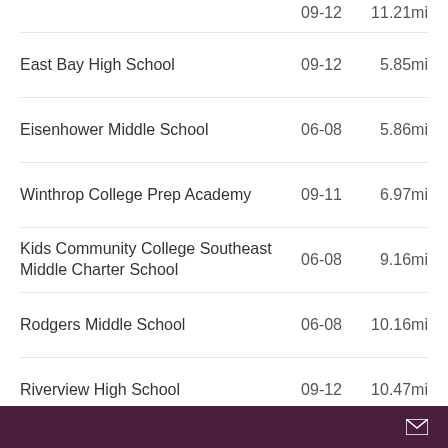| School | Grades | Distance |
| --- | --- | --- |
| East Bay High School | 09-12 | 5.85mi |
| Eisenhower Middle School | 06-08 | 5.86mi |
| Winthrop College Prep Academy | 09-11 | 6.97mi |
| Kids Community College Southeast Middle Charter School | 06-08 | 9.16mi |
| Rodgers Middle School | 06-08 | 10.16mi |
| Riverview High School | 09-12 | 10.47mi |
| Bell Creek Academy | 06-08 | 11.46mi |
Private Schools   Grades   Distance
| School | Grades | Distance |
| --- | --- | --- |
| Apollo Beach Christian Preschool | - | 5.02mi |